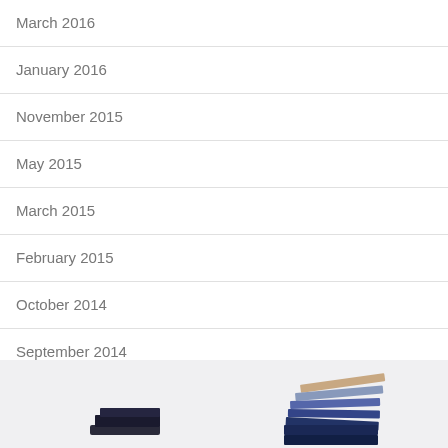March 2016
January 2016
November 2015
May 2015
March 2015
February 2015
October 2014
September 2014
[Figure (photo): Partially visible stacked books or folders at the bottom of the page]